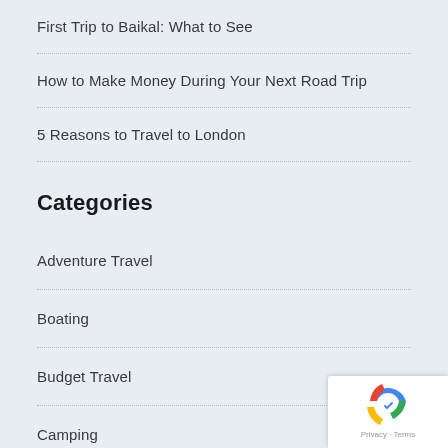First Trip to Baikal: What to See
How to Make Money During Your Next Road Trip
5 Reasons to Travel to London
Categories
Adventure Travel
Boating
Budget Travel
Camping
Destinations